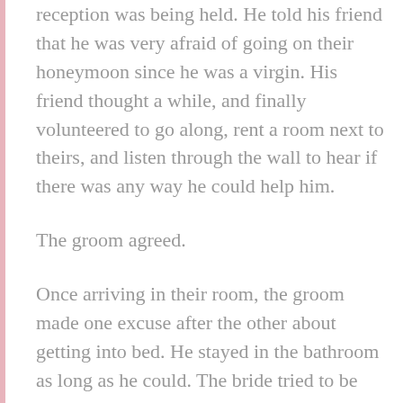reception was being held. He told his friend that he was very afraid of going on their honeymoon since he was a virgin. His friend thought a while, and finally volunteered to go along, rent a room next to theirs, and listen through the wall to hear if there was any way he could help him.
The groom agreed.
Once arriving in their room, the groom made one excuse after the other about getting into bed. He stayed in the bathroom as long as he could. The bride tried to be patient, and tried to make him understand that nothing bad would happened.
Finally, she had to go the bathroom, but still